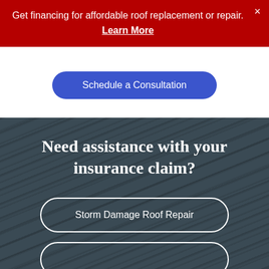Get financing for affordable roof replacement or repair. Learn More ×
Schedule a Consultation
Need assistance with your insurance claim?
Storm Damage Roof Repair